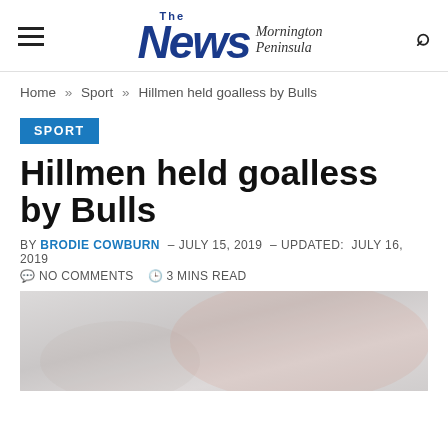The News Mornington Peninsula
Home » Sport » Hillmen held goalless by Bulls
SPORT
Hillmen held goalless by Bulls
BY BRODIE COWBURN – JULY 15, 2019 – UPDATED: JULY 16, 2019
NO COMMENTS   3 MINS READ
[Figure (photo): Sports action photo, faded/light, showing players in red/orange uniforms in what appears to be a football match.]